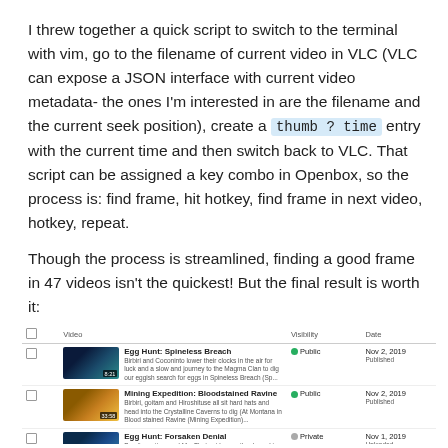I threw together a quick script to switch to the terminal with vim, go to the filename of current video in VLC (VLC can expose a JSON interface with current video metadata- the ones I'm interested in are the filename and the current seek position), create a thumb ? time entry with the current time and then switch back to VLC. That script can be assigned a key combo in Openbox, so the process is: find frame, hit hotkey, find frame in next video, hotkey, repeat.
Though the process is streamlined, finding a good frame in 47 videos isn't the quickest! But the final result is worth it:
|  | Video | Visibility | Date |
| --- | --- | --- | --- |
|  | Egg Hunt: Spineless Breath
Birbiri and Coconinto lower their clocks in the air for luck and a slow and journey to the Magma Clan to dig our eggish search for eggs in Spineless Breach (Sp... | Public | Nov 2, 2019
Published |
|  | Mining Expedition: Bloodstained Ravine
Birbiri, goitam and Hiroshituse all sit hard hats and head into the Crystalline Caverns to dig (At Montana in Blood stained Ravine (Mining Expedition)... | Public | Nov 2, 2019
Published |
|  | Egg Hunt: Forsaken Denial
Burvits, goitam and MacThat cat leaves the drop-skip, and the action to the 543. This where they need to find eggs in Forsaken Denial (Egg Hunt: Recoveries... | Private
Scheduled as Public
Dec 3, 2019, 4:00 PM | Nov 1, 2019
Uploaded |